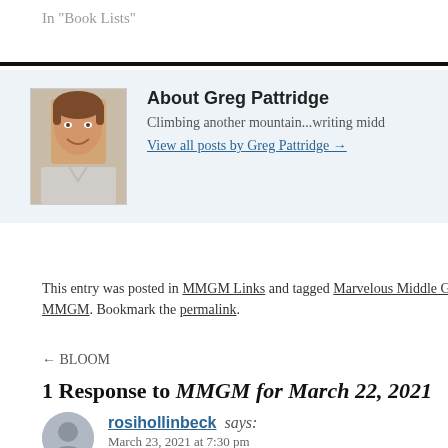In "Book Lists"
[Figure (photo): Author photo of Greg Pattridge, a man with brown hair smiling, in a light shirt]
About Greg Pattridge
Climbing another mountain...writing midd
View all posts by Greg Pattridge →
This entry was posted in MMGM Links and tagged Marvelous Middle Gra MMGM. Bookmark the permalink.
← BLOOM
1 Response to MMGM for March 22, 2021
[Figure (illustration): Generic grey avatar icon for commenter]
rosihollinbeck says:
March 23, 2021 at 7:30 pm
Thanks, Greg!